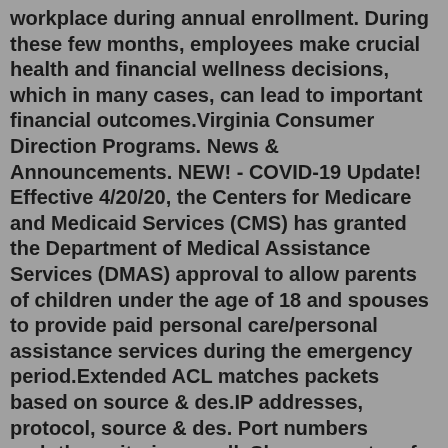workplace during annual enrollment. During these few months, employees make crucial health and financial wellness decisions, which in many cases, can lead to important financial outcomes.Virginia Consumer Direction Programs. News & Announcements. NEW! - COVID-19 Update! Effective 4/20/20, the Centers for Medicare and Medicaid Services (CMS) has granted the Department of Medical Assistance Services (DMAS) approval to allow parents of children under the age of 18 and spouses to provide paid personal care/personal assistance services during the emergency period.Extended ACL matches packets based on source & des.IP addresses, protocol, source & des. Port numbers andother criteria as well. Shows counters for packets and NAT table entries, as well as basic configuration information: 1.It is very important for both public and private parties to understand and address the risks involved in a Public-Private Partnership (PPP) projects. In any PPP...